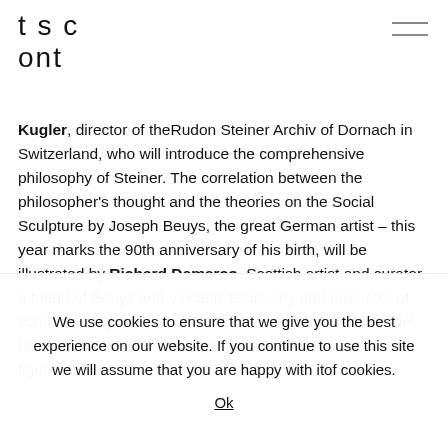tsc
ont
Kugler, director of theRudon Steiner Archiv of Dornach in Switzerland, who will introduce the comprehensive philosophy of Steiner. The correlation between the philosopher's thought and the theories on the Social Sculpture by Joseph Beuys, the great German artist – this year marks the 90th anniversary of his birth, will be illustrated by Richard Demarco, Scottish artist and curator, a friend of Beuys and volcanic testimony and promoter of contemporary art across the board. He will draw a parallel between the two from the standpoint of their presence as figures in both
We use cookies to ensure that we give you the best experience on our website. If you continue to use this site we will assume that you are happy with itof cookies.
Ok